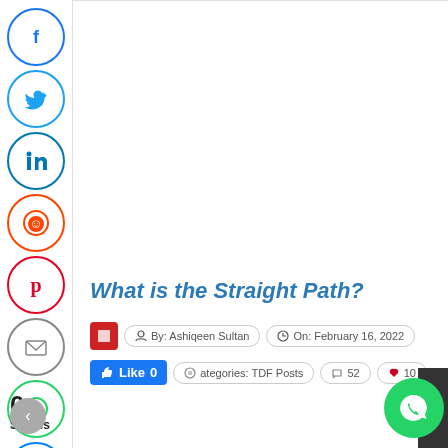[Figure (infographic): Social media share icons sidebar: Facebook (blue circle), Twitter (blue circle), LinkedIn (blue circle), Reddit (orange circle), Pinterest (red circle), Email (gray circle), WhatsApp (green circle), Messenger (blue circle)]
What is the Straight Path?
By: Ashiqeen Sultan   On: February 16, 2022   Categories: TDF Posts   52 comments   10 likes
Like 0   0 Shares